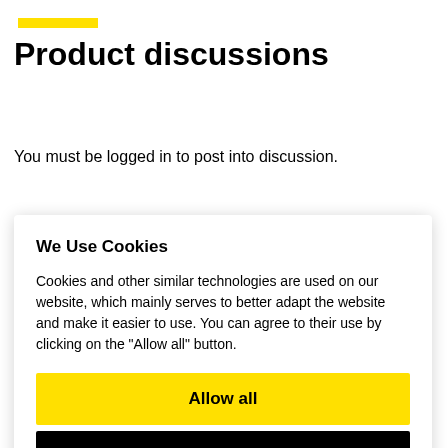Product discussions
You must be logged in to post into discussion.
We Use Cookies
Cookies and other similar technologies are used on our website, which mainly serves to better adapt the website and make it easier to use. You can agree to their use by clicking on the "Allow all" button.
Allow all
Settings